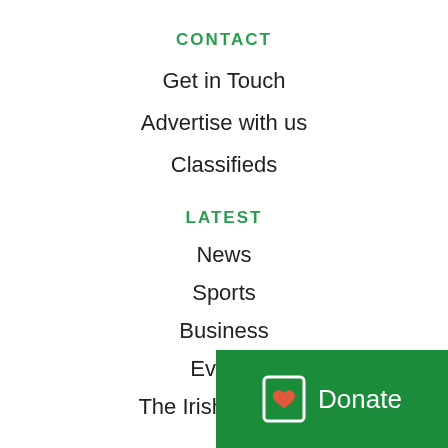CONTACT
Get in Touch
Advertise with us
Classifieds
LATEST
News
Sports
Business
Events
The Irish America
COMPANY
About the Irish Echo
[Figure (other): Green donate button with heart icon and text 'Donate']